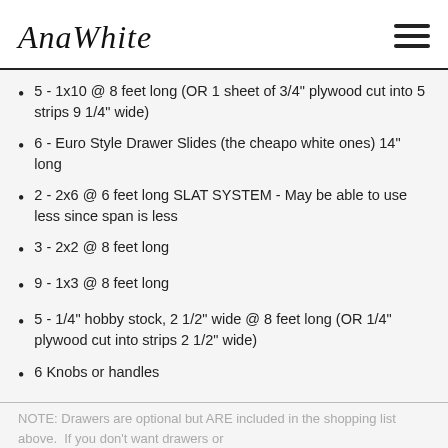AnaWhite
5 - 1x10 @ 8 feet long (OR 1 sheet of 3/4" plywood cut into 5 strips 9 1/4" wide)
6 - Euro Style Drawer Slides (the cheapo white ones) 14" long
2 - 2x6 @ 6 feet long SLAT SYSTEM - May be able to use less since span is less
3 - 2x2 @ 8 feet long
9 - 1x3 @ 8 feet long
5 - 1/4" hobby stock, 2 1/2" wide @ 8 feet long (OR 1/4" plywood cut into strips 2 1/2" wide)
6 Knobs or handles
NOTE: Drawers are optional but ARE included in the shopping list above. If you don't want drawers or